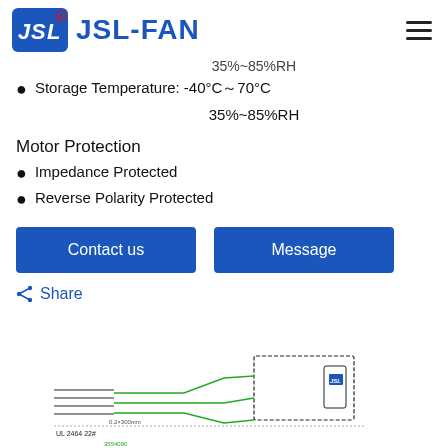JSL-FAN
35%~85%RH
Storage Temperature: -40°C～70°C
35%~85%RH
Motor Protection
Impedance Protected
Reverse Polarity Protected
[Figure (other): Contact us and Message buttons]
Share
[Figure (engineering-diagram): Wiring/connector engineering diagram showing UL 2464 22# wires and connector schematic with green signal lines and JSL logo]